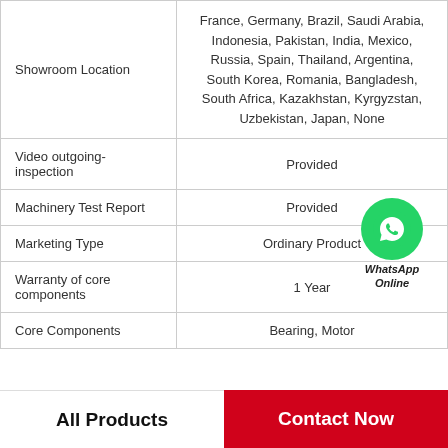| Property | Value |
| --- | --- |
| Showroom Location | France, Germany, Brazil, Saudi Arabia, Indonesia, Pakistan, India, Mexico, Russia, Spain, Thailand, Argentina, South Korea, Romania, Bangladesh, South Africa, Kazakhstan, Kyrgyzstan, Uzbekistan, Japan, None |
| Video outgoing-inspection | Provided |
| Machinery Test Report | Provided |
| Marketing Type | Ordinary Product |
| Warranty of core components | 1 Year |
| Core Components | Bearing, Motor |
[Figure (logo): WhatsApp Online badge with green phone icon circle and text WhatsApp Online]
All Products
Contact Now